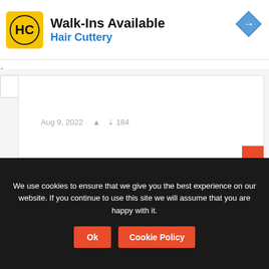[Figure (screenshot): Hair Cuttery advertisement banner with yellow HC logo, title 'Walk-Ins Available', subtitle 'Hair Cuttery', and a blue navigation arrow icon on the right]
Aug 9, 2022  ▲  ↓ 184
We use cookies to ensure that we give you the best experience on our website. If you continue to use this site we will assume that you are happy with it.
Ok  Cookie Policy